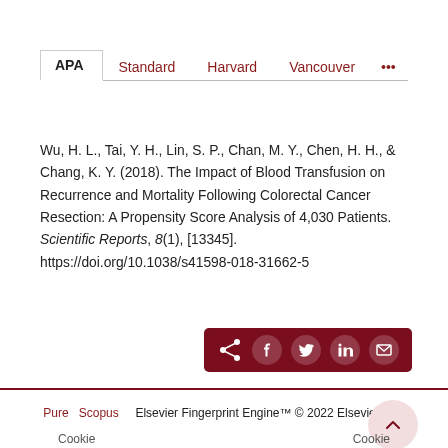APA | Standard | Harvard | Vancouver | …
Wu, H. L., Tai, Y. H., Lin, S. P., Chan, M. Y., Chen, H. H., & Chang, K. Y. (2018). The Impact of Blood Transfusion on Recurrence and Mortality Following Colorectal Cancer Resection: A Propensity Score Analysis of 4,030 Patients. Scientific Reports, 8(1), [13345]. https://doi.org/10.1038/s41598-018-31662-5
[Figure (other): Social share buttons bar with icons for share, Facebook, Twitter, LinkedIn, and email on a dark red background]
Pure  Scopus    Elsevier Fingerprint Engine™ © 2022 Elsevier B.V.
Cookie    Cookie